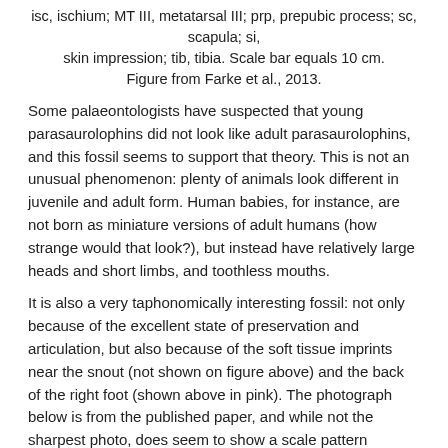isc, ischium; MT III, metatarsal III; prp, prepubic process; sc, scapula; si, skin impression; tib, tibia. Scale bar equals 10 cm. Figure from Farke et al., 2013.
Some palaeontologists have suspected that young parasaurolophins did not look like adult parasaurolophins, and this fossil seems to support that theory. This is not an unusual phenomenon: plenty of animals look different in juvenile and adult form. Human babies, for instance, are not born as miniature versions of adult humans (how strange would that look?), but instead have relatively large heads and short limbs, and toothless mouths.
It is also a very taphonomically interesting fossil: not only because of the excellent state of preservation and articulation, but also because of the soft tissue imprints near the snout (not shown on figure above) and the back of the right foot (shown above in pink). The photograph below is from the published paper, and while not the sharpest photo, does seem to show a scale pattern imprinted on the rock.
[Figure (photo): Close-up photograph of fossilized rock showing scale pattern imprint, with label 'MT III' in white text on the right side.]